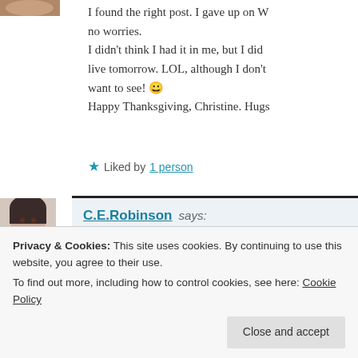I found the right post. I gave up on W... no worries. I didn't think I had it in me, but I did ... live tomorrow. LOL, although I don't... want to see! 😀 Happy Thanksgiving, Christine. Hugs...
★ Liked by 1 person
[Figure (photo): Profile photo of C.E.Robinson - a woman with dark hair against a light background]
C.E.Robinson says: November 24, 2020 at 7:12 pm
Privacy & Cookies: This site uses cookies. By continuing to use this website, you agree to their use. To find out more, including how to control cookies, see here: Cookie Policy
Close and accept